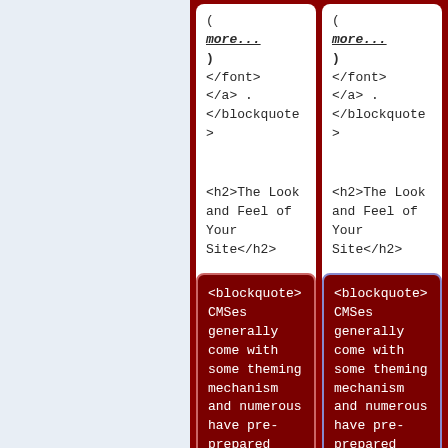(<b><i>
<u>more...
</u>)</i>
</b></font>
</a> .
</blockquote>
(<b><i>
<u>more...
</u>)</i>
</b></font>
</a> .
</blockquote>
<h2>The Look and Feel of Your Site</h2>
<h2>The Look and Feel of Your Site</h2>
<blockquote>CMSes generally come with some theming mechanism and numerous have pre-prepared
<blockquote>CMSes generally come with some theming mechanism and numerous have pre-prepared